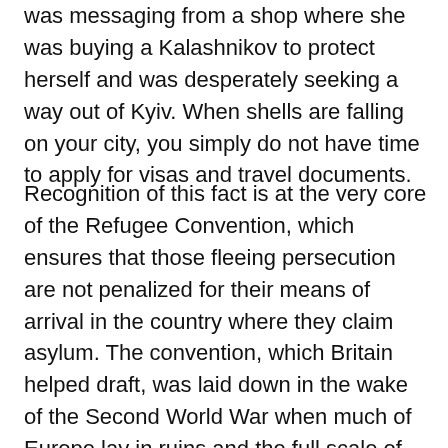was messaging from a shop where she was buying a Kalashnikov to protect herself and was desperately seeking a way out of Kyiv. When shells are falling on your city, you simply do not have time to apply for visas and travel documents.
Recognition of this fact is at the very core of the Refugee Convention, which ensures that those fleeing persecution are not penalized for their means of arrival in the country where they claim asylum. The convention, which Britain helped draft, was laid down in the wake of the Second World War when much of Europe lay in ruins and the full scale of the horrors of the Holocaust were becoming known. Johnson's anti-refugee bill flies in the face of these rules, designed to keep all of us safe whenever the tragedy of war forces people from their homes.